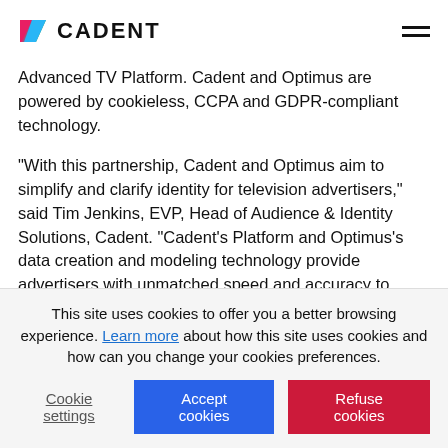CADENT
Advanced TV Platform. Cadent and Optimus are powered by cookieless, CCPA and GDPR-compliant technology.
“With this partnership, Cadent and Optimus aim to simplify and clarify identity for television advertisers,” said Tim Jenkins, EVP, Head of Audience & Identity Solutions, Cadent. “Cadent’s Platform and Optimus’s data creation and modeling technology provide advertisers with unmatched speed and accuracy to
This site uses cookies to offer you a better browsing experience. Learn more about how this site uses cookies and how can you change your cookies preferences.
Cookie settings
Accept cookies
Refuse cookies